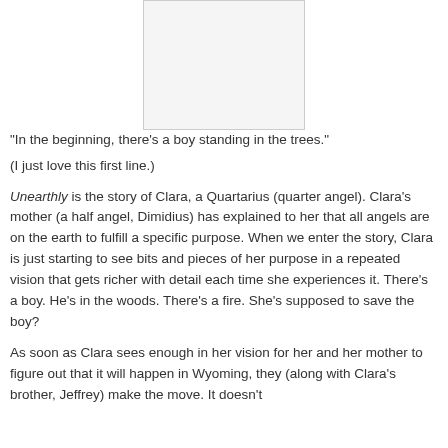[Figure (illustration): Book cover image displayed at top center of page]
"In the beginning, there's a boy standing in the trees."
(I just love this first line.)
Unearthly is the story of Clara, a Quartarius (quarter angel). Clara's mother (a half angel, Dimidius) has explained to her that all angels are on the earth to fulfill a specific purpose. When we enter the story, Clara is just starting to see bits and pieces of her purpose in a repeated vision that gets richer with detail each time she experiences it. There's a boy. He's in the woods. There's a fire. She's supposed to save the boy?
As soon as Clara sees enough in her vision for her and her mother to figure out that it will happen in Wyoming, they (along with Clara's brother, Jeffrey) make the move. It doesn't